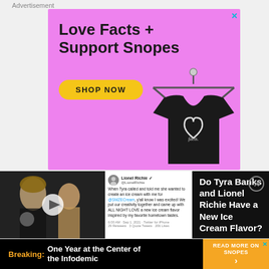Advertisement
[Figure (illustration): Pink advertisement banner for Snopes merchandise with large bold text 'Love Facts + Support Snopes', a yellow 'SHOP NOW' button, and a black t-shirt with a heart and the word 'facts.' hanging on a hanger. Close X button in top right corner.]
[Figure (screenshot): Video thumbnail showing Tyra Banks and Lionel Richie, with a tweet panel from Lionel Richie (@LionelRichie) reading: 'When Tyra called and told me she wanted to create an ice cream with me for @SMZECream, y'all know I was excited! We put our creativity together and came up with ALL NIGHT LOVE a new ice cream flavor inspired by my favorite hometown tastes.' Alongside headline panel on dark background reading 'Do Tyra Banks and Lionel Richie Have a New Ice Cream Flavor?' with a circular close button.]
[Figure (illustration): Black and yellow breaking news bar at bottom with orange text 'Breaking:' followed by white bold text 'One Year at the Center of the Infodemic', and yellow 'READ MORE ON SNOPES' button with arrow on right side, and X close button.]